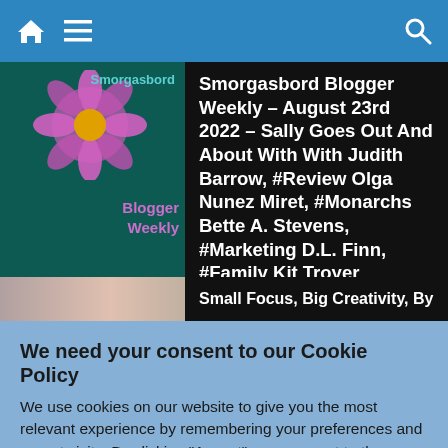Navigation bar with home, menu, and search icons
Smorgasbord Blogger Weekly – August 23rd 2022 – Sally Goes Out And About With With Judith Barrow, #Review Olga Nunez Miret, #Monarchs Bette A. Stevens, #Marketing D.L. Finn, #Family Kit Troyer
August 23, 2022   admin
Small Focus, Big Creativity, By
We need your consent to our Cookie Policy
We use cookies on our website to give you the most relevant experience by remembering your preferences and repeat visits. By clicking "Accept", you consent to the use of ALL the cookies.
Do not sell my personal information.
Cookie Settings   Accept